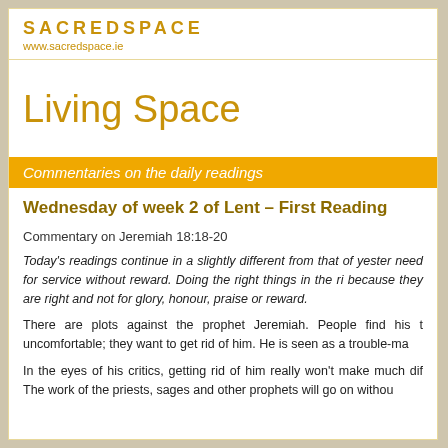SACREDSPACE
www.sacredspace.ie
Living Space
Commentaries on the daily readings
Wednesday of week 2 of Lent – First Reading
Commentary on Jeremiah 18:18-20
Today's readings continue in a slightly different from that of yesterday, need for service without reward. Doing the right things in the right way because they are right and not for glory, honour, praise or reward.
There are plots against the prophet Jeremiah. People find his t uncomfortable; they want to get rid of him. He is seen as a trouble-ma
In the eyes of his critics, getting rid of him really won't make much dif The work of the priests, sages and other prophets will go on withou